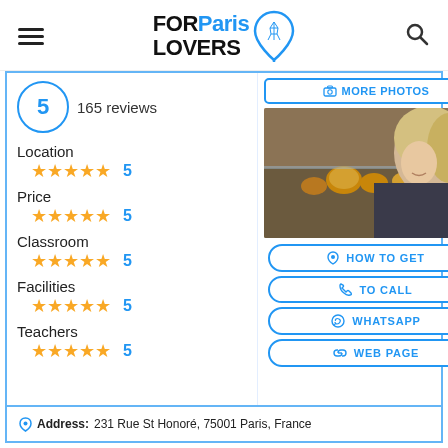FOR Paris LOVERS [logo with Eiffel Tower pin icon]
5  165 reviews
Location ★★★★★ 5
Price ★★★★★ 5
Classroom ★★★★★ 5
Facilities ★★★★★ 5
Teachers ★★★★★ 5
[Figure (photo): Woman smiling looking at pastries in a bakery display window in Paris]
MORE PHOTOS
HOW TO GET
TO CALL
WHATSAPP
WEB PAGE
Address: 231 Rue St Honoré, 75001 Paris, France